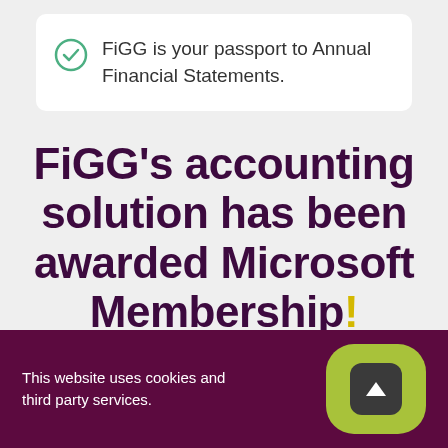FiGG is your passport to Annual Financial Statements.
FiGG’s accounting solution has been awarded Microsoft Membership!
This website uses cookies and third party services.